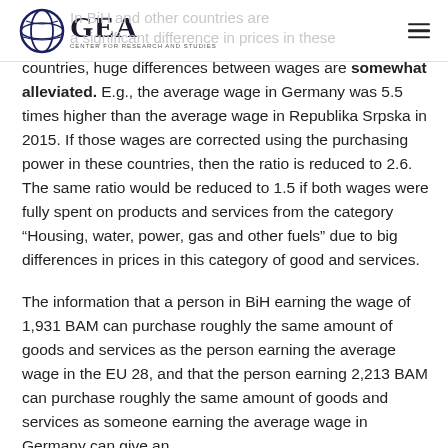GEA Center for Research and Studies
countries, huge differences between wages are somewhat alleviated. E.g., the average wage in Germany was 5.5 times higher than the average wage in Republika Srpska in 2015. If those wages are corrected using the purchasing power in these countries, then the ratio is reduced to 2.6. The same ratio would be reduced to 1.5 if both wages were fully spent on products and services from the category “Housing, water, power, gas and other fuels” due to big differences in prices in this category of good and services.
The information that a person in BiH earning the wage of 1,931 BAM can purchase roughly the same amount of goods and services as the person earning the average wage in the EU 28, and that the person earning 2,213 BAM can purchase roughly the same amount of goods and services as someone earning the average wage in Germany can give an